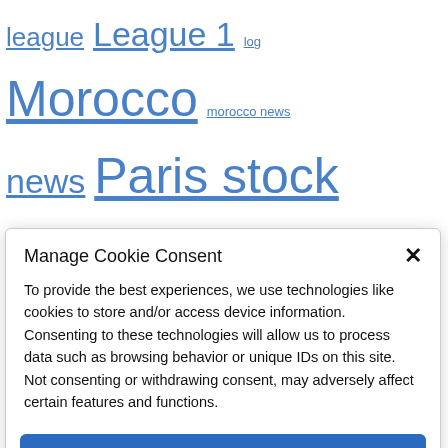league League 1 log Morocco morocco news news Paris stock exchange Politics premier league PSG quotes real Madrid Release series a Sicav soccer society sport Sports stock market tennis the360 trackers transfer Transfers USFP warrants
Manage Cookie Consent
To provide the best experiences, we use technologies like cookies to store and/or access device information. Consenting to these technologies will allow us to process data such as browsing behavior or unique IDs on this site. Not consenting or withdrawing consent, may adversely affect certain features and functions.
Accept